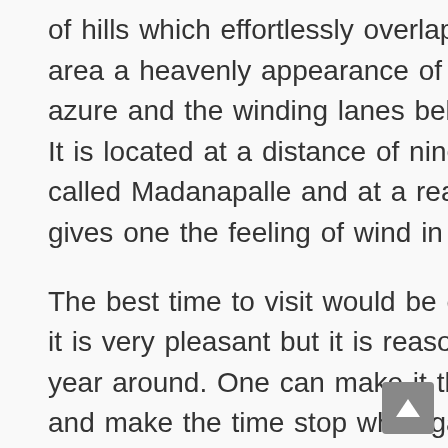of hills which effortlessly overlap and give the whole area a heavenly appearance of varied hues of green, azure and the winding lanes below is the Horsley Hills. It is located at a distance of nine miles from a town called Madanapalle and at a reasonable altitude which gives one the feeling of wind in the hair.
The best time to visit would be during summers when it is very pleasant but it is reasonably salubrious all year around. One can make it their ideal picnic spot and make the time stop while gazing into the illimitable skies and enjoying a nice lunch under the smiling sun. There is fresh air, lush greenery and is very sparse in terms of the number of people which